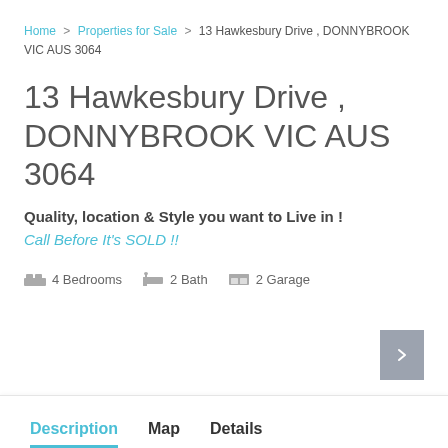Home > Properties for Sale > 13 Hawkesbury Drive , DONNYBROOK VIC AUS 3064
13 Hawkesbury Drive , DONNYBROOK VIC AUS 3064
Quality, location & Style you want to Live in !
Call Before It's SOLD !!
4 Bedrooms   2 Bath   2 Garage
Description   Map   Details